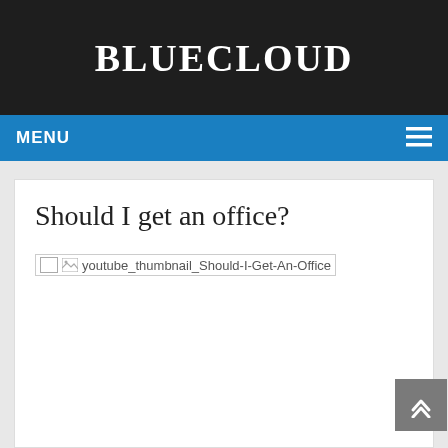BLUECLOUD
MENU
Should I get an office?
[Figure (screenshot): Broken image placeholder with alt text: youtube_thumbnail_Should-I-Get-An-Office]